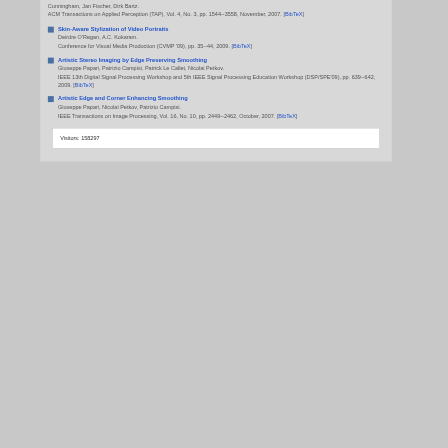Cunningham, Jan Fischer, Dirk Bartz. ACM Transactions on Applied Perception (TAP), Vol. 4, No. 3, pp. 1544--3558, November, 2007. [BibTeX]
Skin-Aware Stylization of Video Portraits. Deirdre O'Regan, A.C. Kokaram. Conference for Visual Media Production (CVMP '09), pp. 35--44, 2009. [BibTeX]
Artistic Stereo Imaging by Edge Preserving Smoothing. Giuseppe Papari, Patrizio Campisi, Patrick Le Callet, Nicolai Petkov. IEEE 13th Digital Signal Processing Workshop and 5th IEEE Signal Processing Education Workshop (DSP/SPE'09), pp. 639--642, 2009. [BibTeX]
Artistic Edge and Corner Enhancing Smoothing. Giuseppe Papari, Nicolai Petkov, Patrizio Campisi. IEEE Transactions on Image Processing, Vol. 16, No. 10, pp. 2449--2462, October, 2007. [BibTeX]
Visitors: 158297